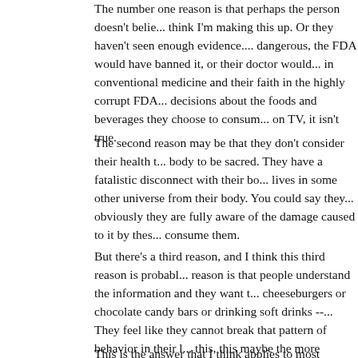The number one reason is that perhaps the person doesn't belie... think I'm making this up. Or they haven't seen enough evidence.... dangerous, the FDA would have banned it, or their doctor would... in conventional medicine and their faith in the highly corrupt FDA... decisions about the foods and beverages they choose to consum... on TV, it isn't true.
The second reason may be that they don't consider their health t... body to be sacred. They have a fatalistic disconnect with their bo... lives in some other universe from their body. You could say they... obviously they are fully aware of the damage caused to it by thes... consume them.
But there's a third reason, and I think this third reason is probabl... reason is that people understand the information and they want t... cheeseburgers or chocolate candy bars or drinking soft drinks --... They feel like they cannot break that pattern of behavior in their l... this, this maybe the more familiar reason. We all have varying de... to break our old patterns and establish new patterns. It's very dif... example, if you've been drinking them for many years. It's difficul... lifestyle. It's difficult to take up an exercise program and actually... where it becomes an ingrained habit.
This is the answer that I think applies to most people. It's not tha...